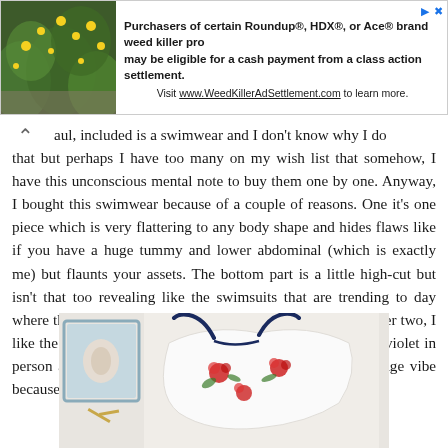[Figure (infographic): Advertisement banner with a plant/flower photo on the left and text about Roundup, HDX, or Ace brand weed killer class action settlement]
aul, included is a swimwear and I don't know why I do that but perhaps I have too many on my wish list that somehow, I have this unconscious mental note to buy them one by one. Anyway, I bought this swimwear because of a couple of reasons. One it's one piece which is very flattering to any body shape and hides flaws like if you have a huge tummy and lower abdominal (which is exactly me) but flaunts your assets. The bottom part is a little high-cut but isn't that too revealing like the swimsuits that are trending to day where the leg opening goes as high up as belly button. Number two, I like the shade of blue that it comes with, it's more like blue-violet in person actually. Third reason would be that it has that vintage vibe because of its floral prints.
[Figure (photo): Flat lay photo of a white swimsuit with floral (red roses) print and dark blue straps/details, with a small blue frame and decorative items on a light background]